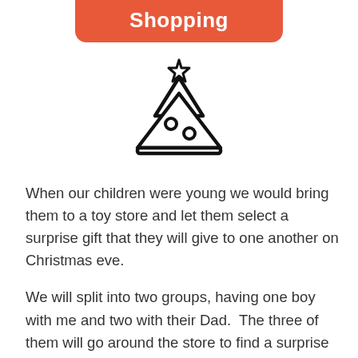Shopping
[Figure (illustration): Black outline icon of a Christmas tree with a star on top and two circular ornaments]
When our children were young we would bring them to a toy store and let them select a surprise gift that they will give to one another on Christmas eve.
We will split into two groups, having one boy with me and two with their Dad.  The three of them will go around the store to find a surprise gift for the one who is with me.  After that they will switch places until